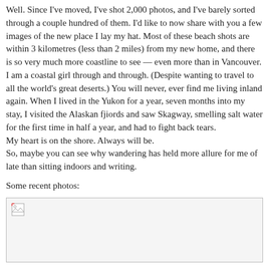Well. Since I've moved, I've shot 2,000 photos, and I've barely sorted through a couple hundred of them. I'd like to now share with you a few images of the new place I lay my hat. Most of these beach shots are within 3 kilometres (less than 2 miles) from my new home, and there is so very much more coastline to see — even more than in Vancouver.
I am a coastal girl through and through. (Despite wanting to travel to all the world's great deserts.) You will never, ever find me living inland again. When I lived in the Yukon for a year, seven months into my stay, I visited the Alaskan fjiords and saw Skagway, smelling salt water for the first time in half a year, and had to fight back tears.
My heart is on the shore. Always will be.
So, maybe you can see why wandering has held more allure for me of late than sitting indoors and writing.
Some recent photos:
[Figure (photo): A photo placeholder showing a broken image icon in the top-left corner, with an otherwise blank/empty rectangular image area.]